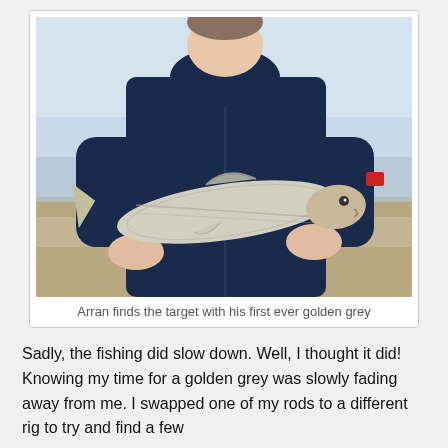[Figure (photo): A young man in a dark navy jacket standing on a beach, holding up a golden grey mullet fish with both hands. The beach background shows wet sand and a pale sky.]
Arran finds the target with his first ever golden grey
Sadly, the fishing did slow down. Well, I thought it did! Knowing my time for a golden grey was slowly fading away from me. I swapped one of my rods to a different rig to try and find a few